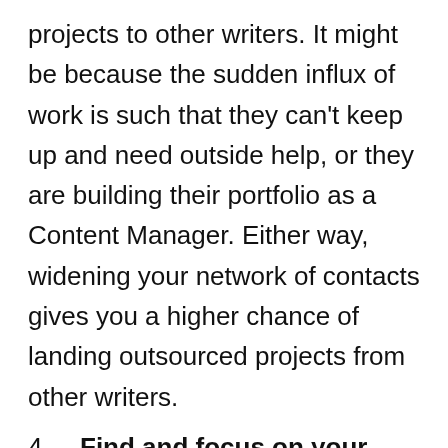projects to other writers. It might be because the sudden influx of work is such that they can't keep up and need outside help, or they are building their portfolio as a Content Manager. Either way, widening your network of contacts gives you a higher chance of landing outsourced projects from other writers.
4. Find and focus on your niche. For businesses to keep up with the competition, they need their content to stand out and be unique. Great content is noticed and gets read by the appropriate